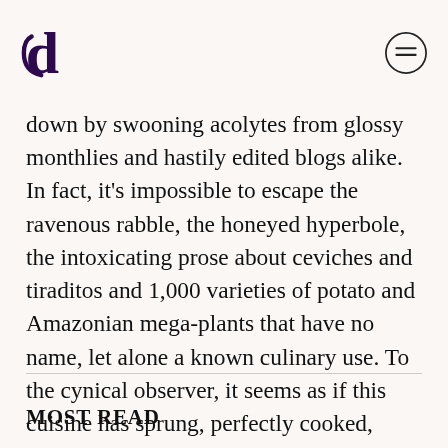[Delayed logo] [Menu icon]
down by swooning acolytes from glossy monthlies and hastily edited blogs alike. In fact, it’s impossible to escape the ravenous rabble, the honeyed hyperbole, the intoxicating prose about ceviches and tiraditos and 1,000 varieties of potato and Amazonian mega-plants that have no name, let alone a known culinary use. To the cynical observer, it seems as if this cuisine has sprung, perfectly cooked, from the sous vide a mere decade back. Surely no place could deserve this tsunami of praise.
MOST READ